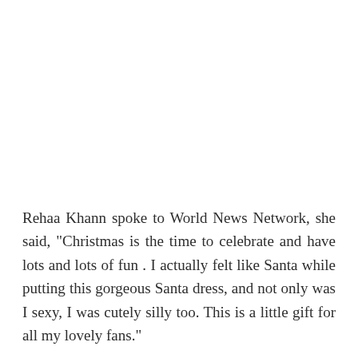Rehaa Khann spoke to World News Network, she said, "Christmas is the time to celebrate and have lots and lots of fun . I actually felt like Santa while putting this gorgeous Santa dress, and not only was I sexy, I was cutely silly too. This is a little gift for all my lovely fans."